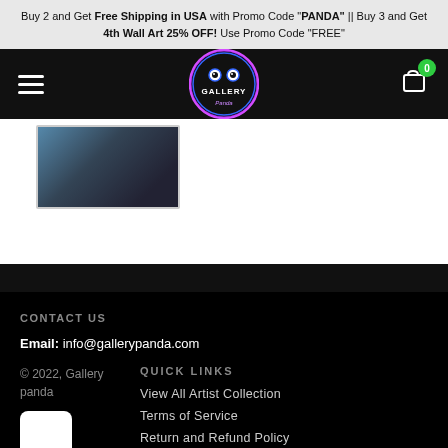Buy 2 and Get Free Shipping in USA with Promo Code "PANDA" || Buy 3 and Get 4th Wall Art 25% OFF! Use Promo Code "FREE"
[Figure (logo): Gallery Panda neon logo in a circular badge on black navigation bar with hamburger menu and shopping cart icon showing 0 items]
[Figure (photo): Partial product image thumbnail showing a face or portrait artwork]
CONTACT US
Email: info@gallerypanda.com
© 2022, Gallery panda
QUICK LINKS
View All Artist Collection
Terms of Service
Return and Refund Policy